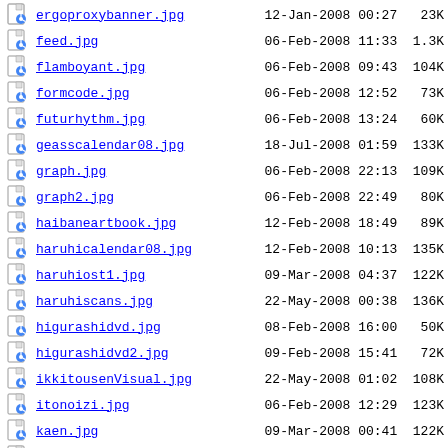ergoproxybanner.jpg  12-Jan-2008 00:27  23K
feed.jpg  06-Feb-2008 11:33  1.3K
flamboyant.jpg  06-Feb-2008 09:43  104K
formcode.jpg  06-Feb-2008 12:52  73K
futurhythm.jpg  06-Feb-2008 13:24  60K
geasscalendar08.jpg  18-Jul-2008 01:59  133K
graph.jpg  06-Feb-2008 22:13  109K
graph2.jpg  06-Feb-2008 22:49  80K
haibaneartbook.jpg  12-Feb-2008 18:49  89K
haruhicalendar08.jpg  12-Feb-2008 10:13  135K
haruhiost1.jpg  09-Mar-2008 04:37  122K
haruhiscans.jpg  22-May-2008 00:38  136K
higurashidvd.jpg  08-Feb-2008 16:00  50K
higurashidvd2.jpg  09-Feb-2008 15:41  72K
ikkitousenVisual.jpg  22-May-2008 01:02  108K
itonoizi.jpg  06-Feb-2008 12:29  123K
kaen.jpg  09-Mar-2008 00:41  122K
lighto.jpg  20-Nov-2007 11:31  7.6K